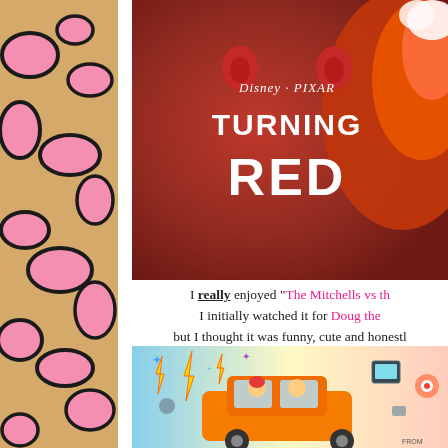[Figure (illustration): Left sidebar with tan/golden background and pink leopard/cheetah spots pattern with black outlines]
[Figure (photo): Disney Pixar 'Turning Red' movie poster with dark red background, the movie logo in white text on a red circle, and a red panda character on the right side]
I really enjoyed "The Mitchells vs th... I initially watched it for Doug the... but I thought it was funny, cute and honestly... with the whole "AI technology taking over...
[Figure (illustration): Colorful animated movie poster showing characters in a car with various animated objects flying around, bright colorful style]